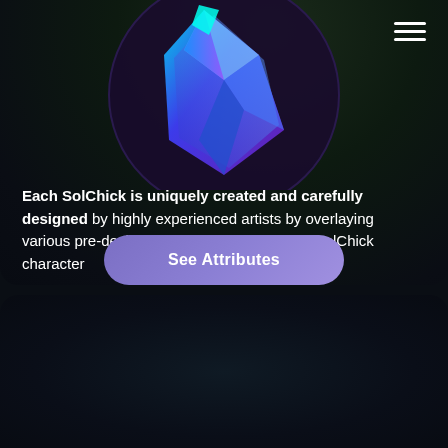[Figure (illustration): Dark-themed card with a glowing blue-purple geometric gem/crystal shape on a dark circular background, with a hamburger menu icon in the top right corner.]
Each SolChick is uniquely created and carefully designed by highly experienced artists by overlaying various pre-designed attributes on the base SolChick character
See Attributes
[Figure (illustration): Dark-themed card showing a blue teardrop or location-pin shaped character/object floating above a reflective purple oval shadow with golden horizontal stripe lines beneath it.]